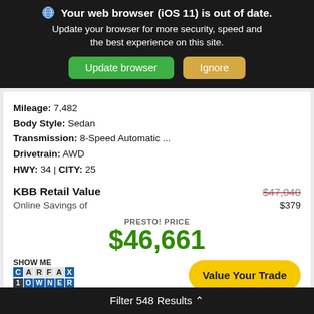Your web browser (iOS 11) is out of date. Update your browser for more security, speed and the best experience on this site.
Mileage: 7,482
Body Style: Sedan
Transmission: 8-Speed Automatic ...
Drivetrain: AWD
HWY: 34 | CITY: 25
KBB Retail Value $47,040
Online Savings of $379
PRESTO! PRICE $46,661
[Figure (logo): SHOW ME CARFAX 1 OWNER badge]
Value Your Trade
Filter 548 Results ^